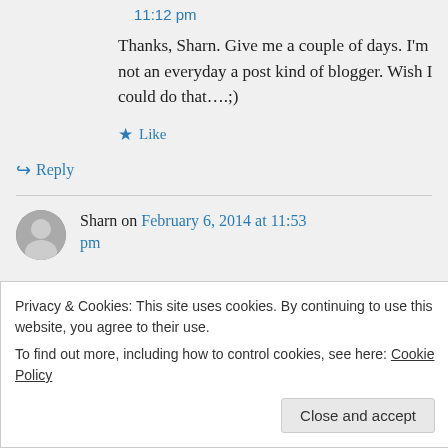11:12 pm
Thanks, Sharn. Give me a couple of days. I'm not an everyday a post kind of blogger. Wish I could do that….;)
★ Like
↪ Reply
Sharn on February 6, 2014 at 11:53 pm
Privacy & Cookies: This site uses cookies. By continuing to use this website, you agree to their use.
To find out more, including how to control cookies, see here: Cookie Policy
Close and accept